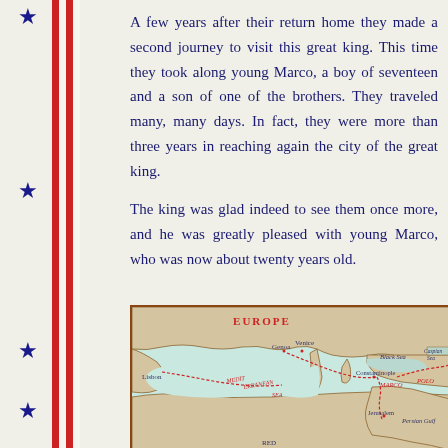A few years after their return home they made a second journey to visit this great king. This time they took along young Marco, a boy of seventeen and a son of one of the brothers. They traveled many, many days. In fact, they were more than three years in reaching again the city of the great king.
The king was glad indeed to see them once more, and he was greatly pleased with young Marco, who was now about twenty years old.
[Figure (map): Historical map showing Europe, Mediterranean Sea, and Middle East with trade routes marked. Labels include: EUROPE, Genoa, Venice, Black Sea, Caspian Sea, Lisbon, MEDITERRANEAN SEA, Constantinople, MARCO, POLO, Jerusalem, Persian Gulf, RED (sea partially visible). Dashed red lines show travel routes.]